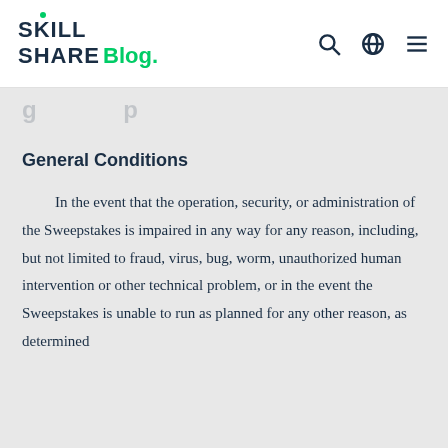SkillShare Blog.
General Conditions
In the event that the operation, security, or administration of the Sweepstakes is impaired in any way for any reason, including, but not limited to fraud, virus, bug, worm, unauthorized human intervention or other technical problem, or in the event the Sweepstakes is unable to run as planned for any other reason, as determined